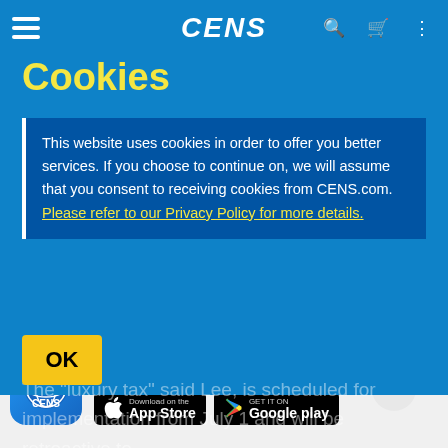CENS
Cookies
rate range of 10-15% for the tax. The fourth is no discrimination, as the tax will be applicable to entire Taiwan, without being...
This website uses cookies in order to offer you better services. If you choose to continue on, we will assume that you consent to receiving cookies from CENS.com. Please refer to our Privacy Policy for more details.
OK
The "luxury tax" said Lee, is scheduled for implementation from July 1 and will be retroactive to realties purchased beforehand. Sales of original houses with less than two years of ownership by people after purchase of new houses will be exempt from the luxury house, however.
Global Buyers' Most Trusted Taiwan Supplier Platform
[Figure (logo): CENS app icon - blue globe logo]
[Figure (infographic): Download on the App Store button]
[Figure (infographic): Get it on Google Play button]